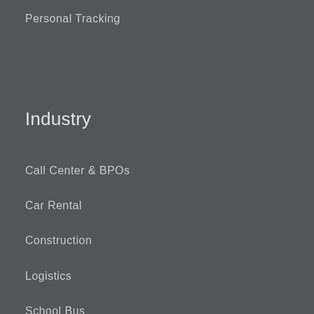Personal Tracking
Industry
Call Center & BPOs
Car Rental
Construction
Logistics
School Bus
Static Equipment
Company
About Us
Affiliate Program
Benefits
Careers